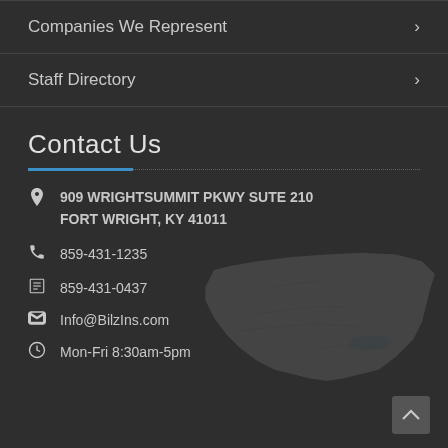Companies We Represent
Staff Directory
Contact Us
909 WRIGHTSUMMIT PKWY SUTE 210
FORT WRIGHT, KY 41011
859-431-1235
859-431-0437
Info@BilzIns.com
Mon-Fri 8:30am-5pm